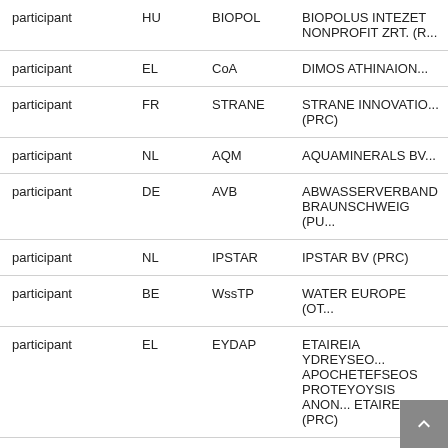| participant | HU | BIOPOL | BIOPOLUS INTEZET NONPROFIT ZRT. (R... |
| participant | EL | CoA | DIMOS ATHINAION... |
| participant | FR | STRANE | STRANE INNOVATIO... (PRC) |
| participant | NL | AQM | AQUAMINERALS BV... |
| participant | DE | AVB | ABWASSERVERBAND BRAUNSCHWEIG (PU... |
| participant | NL | IPSTAR | IPSTAR BV (PRC) |
| participant | BE | WssTP | WATER EUROPE (OT... |
| participant | EL | EYDAP | ETAIREIA YDREYSEO... APOCHETEFSEOS PROTEYOYSIS ANON... ETAIREIA (PRC) |
| participant | EL | CHEM | CHEMITAL TECHNO... |